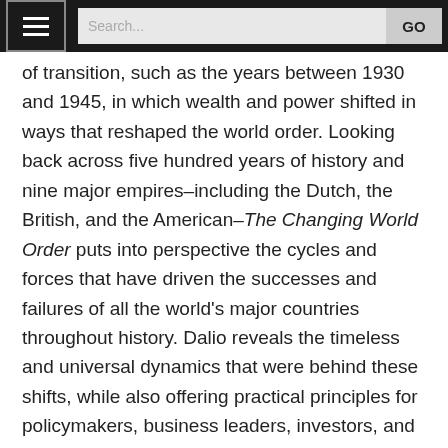Search... GO
of transition, such as the years between 1930 and 1945, in which wealth and power shifted in ways that reshaped the world order. Looking back across five hundred years of history and nine major empires–including the Dutch, the British, and the American–The Changing World Order puts into perspective the cycles and forces that have driven the successes and failures of all the world's major countries throughout history. Dalio reveals the timeless and universal dynamics that were behind these shifts, while also offering practical principles for policymakers, business leaders, investors, and others operating in this environment.